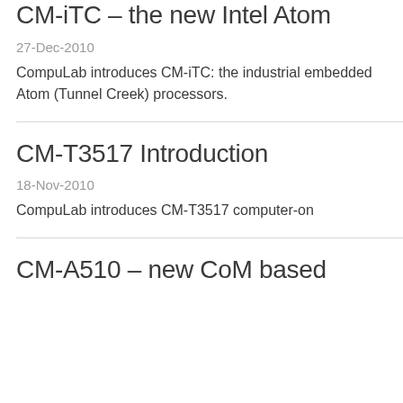CM-iTC – the new Intel Atom
27-Dec-2010
CompuLab introduces CM-iTC: the industrial embedded Atom (Tunnel Creek) processors.
CM-T3517 Introduction
18-Nov-2010
CompuLab introduces CM-T3517 computer-on
CM-A510 – new CoM based